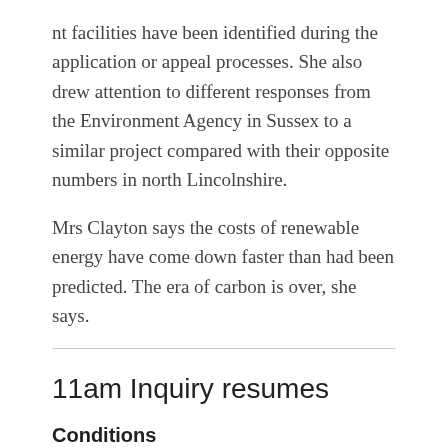nt facilities have been identified during the application or appeal processes. She also drew attention to different responses from the Environment Agency in Sussex to a similar project compared with their opposite numbers in north Lincolnshire.
Mrs Clayton says the costs of renewable energy have come down faster than had been predicted. The era of carbon is over, she says.
11am Inquiry resumes
Conditions
Inspector, Keri Williams, says he visited the site this morning.